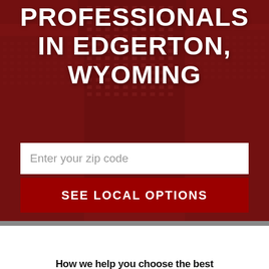[Figure (photo): Dark red tinted cityscape background showing tall office/commercial buildings]
PROFESSIONALS IN EDGERTON, WYOMING
Enter your zip code
SEE LOCAL OPTIONS